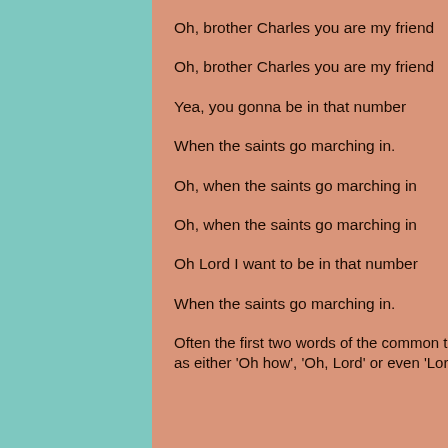Oh, brother Charles you are my friend
Oh, brother Charles you are my friend
Yea, you gonna be in that number
When the saints go marching in.
Oh, when the saints go marching in
Oh, when the saints go marching in
Oh Lord I want to be in that number
When the saints go marching in.
Often the first two words of the common third verse line ('Lord, how I want..') are sung as either 'Oh how', 'Oh, Lord' or even 'Lord, Lord'